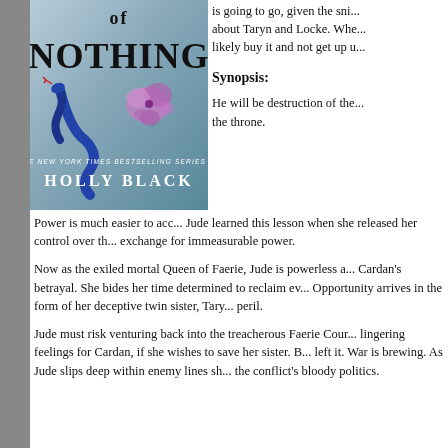[Figure (illustration): Book cover of 'Queen of Nothing' by Holly Black — The New York Times Bestselling Series. Shows a blue/teal serpent snake, purple splash/flower marks on an icy blue-grey background. Author name HOLLY BLACK in bold white letters at bottom.]
is going to go, given the sni... about Taryn and Locke. Whe... likely buy it and not get up u...
Synopsis:
He will be destruction of the... the throne.
Power is much easier to acc... Jude learned this lesson when she released her control over th... exchange for immeasurable power.
Now as the exiled mortal Queen of Faerie, Jude is powerless a... Cardan's betrayal. She bides her time determined to reclaim ev... Opportunity arrives in the form of her deceptive twin sister, Tary... peril.
Jude must risk venturing back into the treacherous Faerie Cour... lingering feelings for Cardan, if she wishes to save her sister. B... left it. War is brewing. As Jude slips deep within enemy lines sh... the conflict's bloody politics.